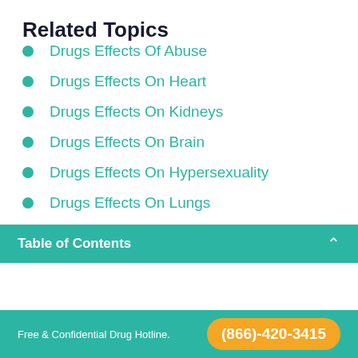Related Topics
Drugs Effects Of Abuse
Drugs Effects On Heart
Drugs Effects On Kidneys
Drugs Effects On Brain
Drugs Effects On Hypersexuality
Drugs Effects On Lungs
Table of Contents
Free & Confidential Drug Hotline.  (866)-420-3415